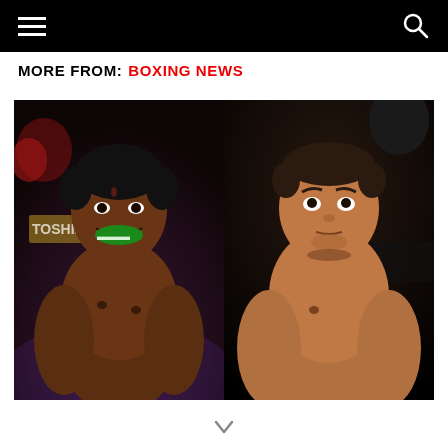Navigation header with menu and search icons
MORE FROM: BOXING NEWS
[Figure (photo): Two boxers side by side: left boxer is a dark-skinned male with a green mouthguard smiling after a fight, with 'TOSHIBA' signage visible in background; right boxer is a lighter-skinned male with a serious expression, with 'HBO' signage visible in background]